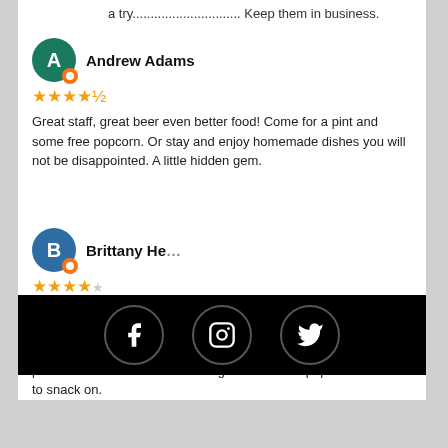a try.............................. Keep them in business.
Andrew Adams
★★★★½ Great staff, great beer even better food! Come for a pint and some free popcorn. Or stay and enjoy homemade dishes you will not be disappointed. A little hidden gem.
Brittany He...
★★★★ ...ood pub. The server was an absolute delight and will be back just because of her. The pub itself was clean and bright inside. The food was also very solid pub food and fresh tasting. The prices did however seem a bit high. Bonus free popcorn available to snack on.
[Figure (infographic): Black social media bar with Facebook, Instagram, and Twitter icons in circular borders]
More Google Reviews